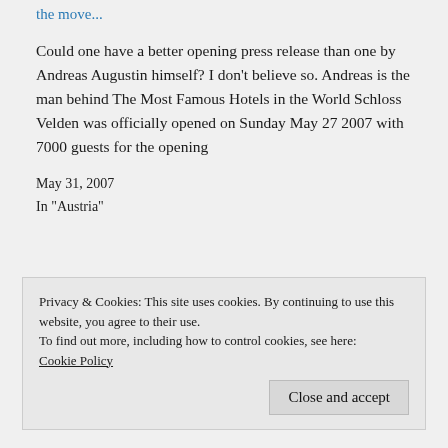the move...
Could one have a better opening press release than one by Andreas Augustin himself? I don't believe so. Andreas is the man behind The Most Famous Hotels in the World Schloss Velden was officially opened on Sunday May 27 2007 with 7000 guests for the opening
May 31, 2007
In "Austria"
Privacy & Cookies: This site uses cookies. By continuing to use this website, you agree to their use.
To find out more, including how to control cookies, see here:
Cookie Policy